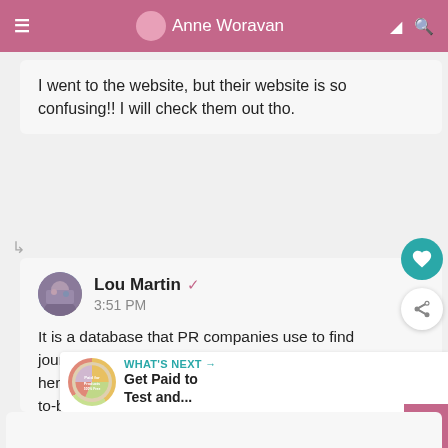Anne Woravan
I went to the website, but their website is so confusing!! I will check them out tho.
Lou Martin  3:51 PM  It is a database that PR companies use to find journalist, bloggers, etc. Also, check out my blog post here http://www.productreviewmom.com/2014/10/how-to-become-makeup-product-review.html
WHAT'S NEXT → Get Paid to Test and...